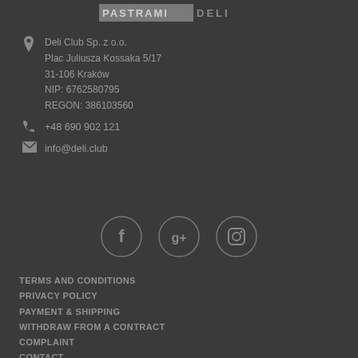[Figure (logo): PASTRAMI DELI logo in greyed/muted tones]
Deli Club Sp. z o.o.
Plac Juliusza Kossaka 5/17
31-106 Kraków
NIP: 6762580795
REGON: 386103560
+48 690 902 121
info@deli.club
[Figure (illustration): Three social media icon circles: Facebook (f), Google+ (g+), Instagram (camera)]
TERMS AND CONDITIONS
PRIVACY POLICY
PAYMENT & SHIPPING
WITHDRAW FROM A CONTRACT
COMPLAINT
CONTACT